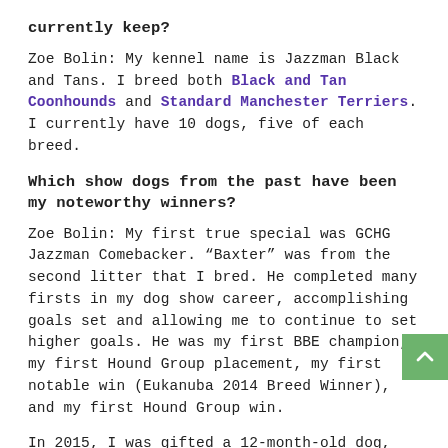currently keep?
Zoe Bolin: My kennel name is Jazzman Black and Tans. I breed both Black and Tan Coonhounds and Standard Manchester Terriers. I currently have 10 dogs, five of each breed.
Which show dogs from the past have been my noteworthy winners?
Zoe Bolin: My first true special was GCHG Jazzman Comebacker. “Baxter” was from the second litter that I bred. He completed many firsts in my dog show career, accomplishing goals set and allowing me to continue to set higher goals. He was my first BBE champion, my first Hound Group placement, my first notable win (Eukanuba 2014 Breed Winner), and my first Hound Group win.
In 2015, I was gifted a 12-month-old dog, GCHG Oak Hills Heart of Gold, from another breeder-friend. “Booker” s the bar even higher. He was a multiple Group winner, an all-breed BIS winner, the all-time leading NOHS dog (Platinum NOHS), and an inductee in the American Black